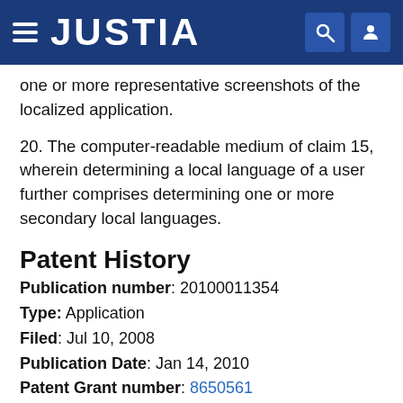JUSTIA
one or more representative screenshots of the localized application.
20. The computer-readable medium of claim 15, wherein determining a local language of a user further comprises determining one or more secondary local languages.
Patent History
Publication number: 20100011354
Type: Application
Filed: Jul 10, 2008
Publication Date: Jan 14, 2010
Patent Grant number: 8650561
Applicant: Apple Inc. (Cupertino, CA)
Inventors: Sam Gharabally (San Francisco, CA), Ricardo Cortes (Los Gatos, CA), David Makower (Milpitas, CA),